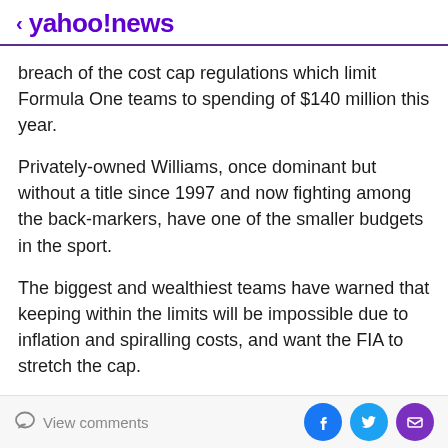< yahoo!news
breach of the cost cap regulations which limit Formula One teams to spending of $140 million this year.
Privately-owned Williams, once dominant but without a title since 1997 and now fighting among the back-markers, have one of the smaller budgets in the sport.
The biggest and wealthiest teams have warned that keeping within the limits will be impossible due to inflation and spiralling costs, and want the FIA to stretch the cap.
Mercedes F1 boss and co-owner Toto Wolff told reporters at last month's Monaco Grand Prix that his team's energy bill at the…
View comments